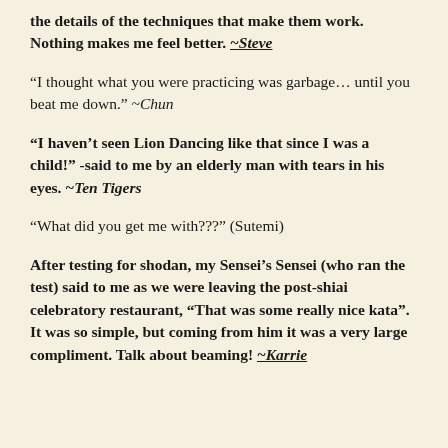the details of the techniques that make them work. Nothing makes me feel better. ~Steve
“I thought what you were practicing was garbage… until you beat me down.” ~Chun
“I haven’t seen Lion Dancing like that since I was a child!” -said to me by an elderly man with tears in his eyes. ~Ten Tigers
“What did you get me with???” (Sutemi)
After testing for shodan, my Sensei’s Sensei (who ran the test) said to me as we were leaving the post-shiai celebratory restaurant, “That was some really nice kata”. It was so simple, but coming from him it was a very large compliment. Talk about beaming! ~Karrie